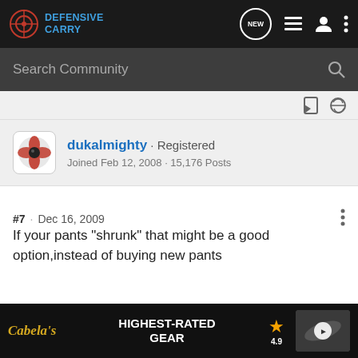Defensive Carry
Search Community
dukalmighty · Registered
Joined Feb 12, 2008 · 15,176 Posts
#7 · Dec 16, 2009
If your pants "shrunk" that might be a good option,instead of buying new pants
"Outside of the killings, Washington has one of the lowest crime rates in t...
[Figure (screenshot): Cabela's advertisement banner: HIGHEST-RATED GEAR with 4.9 star rating and product image]